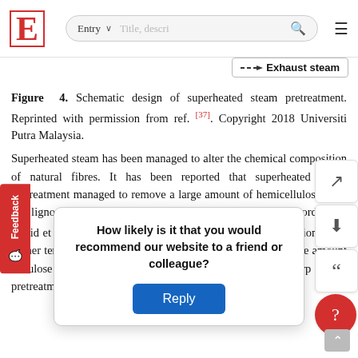E [logo] | Entry ∨ | [search bar] | [menu]
[Figure (schematic): Legend showing dashed arrow line labelled 'Exhaust steam']
Figure 4. Schematic design of superheated steam pretreatment. Reprinted with permission from ref. [37]. Copyright 2018 Universiti Putra Malaysia.
Superheated steam has been managed to alter the chemical composition of natural fibres. It has been reported that superheated steam pretreatment managed to remove a large amount of hemicellulose from the lignocellulosic biomasses [35][36][37][38][39][40]. According to Warid et al. [41], superheated steam pretreatment on oil palm biomass at higher temperature and shorter time managed to remove a large amount of cellulose composition, probably by Norrrahim on mesocarp fibre pretreatment to remove